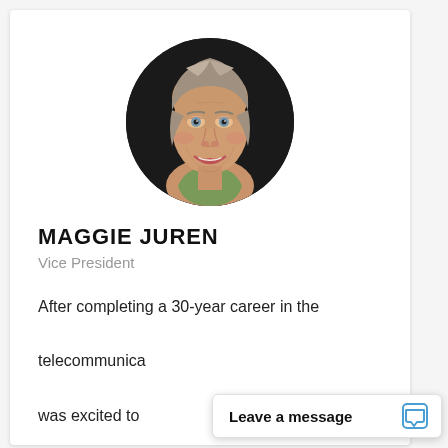[Figure (photo): Circular profile photo of Maggie Juren, an older woman with short gray-brown hair, smiling, wearing a green top, against a dark background.]
MAGGIE JUREN
Vice President
After completing a 30-year career in the telecommunica... was excited to
Leave a message